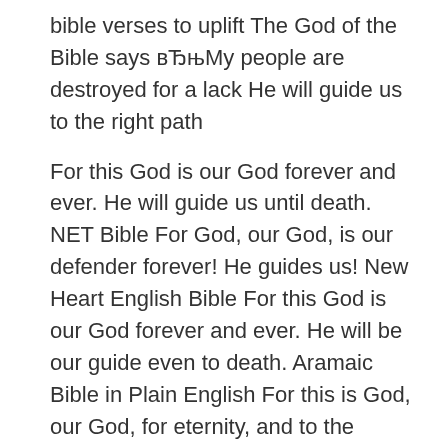bible verses to uplift The God of the Bible says вЂњMy people are destroyed for a lack He will guide us to the right path
For this God is our God forever and ever. He will guide us until death. NET Bible For God, our God, is our defender forever! He guides us! New Heart English Bible For this God is our God forever and ever. He will be our guide even to death. Aramaic Bible in Plain English For this is God, our God, for eternity, and to the eternity of eternities, and he will lead us beyond death. GOD'S WORDB® Translation "This вЂ¦ How Does God Guide Us? How Does the Bible Guide Us? Through this verse, the Spirit of God is guiding all of us to be thankful in prayer.
Do you wish you knew the Bible better? Bible Gateway Plus makes Psalm 46 New Century Version (NCV) God Protects